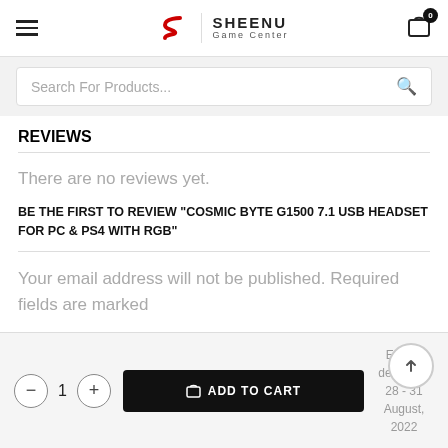SHEENU Game Center
Search For Products...
REVIEWS
There are no reviews yet.
BE THE FIRST TO REVIEW "COSMIC BYTE G1500 7.1 USB HEADSET FOR PC & PS4 WITH RGB"
Your email address will not be published. Required fields are marked
Estima delivery 28 - 31 August, 2022